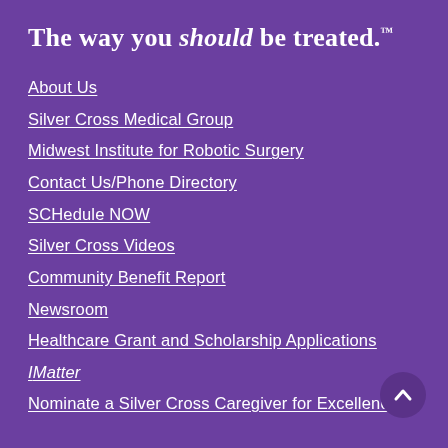The way you should be treated.™
About Us
Silver Cross Medical Group
Midwest Institute for Robotic Surgery
Contact Us/Phone Directory
SCHedule NOW
Silver Cross Videos
Community Benefit Report
Newsroom
Healthcare Grant and Scholarship Applications
IMatter
Nominate a Silver Cross Caregiver for Excellence